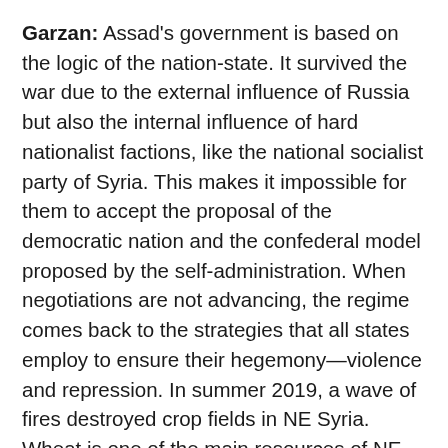Garzan: Assad's government is based on the logic of the nation-state. It survived the war due to the external influence of Russia but also the internal influence of hard nationalist factions, like the national socialist party of Syria. This makes it impossible for them to accept the proposal of the democratic nation and the confederal model proposed by the self-administration. When negotiations are not advancing, the regime comes back to the strategies that all states employ to ensure their hegemony—violence and repression. In summer 2019, a wave of fires destroyed crop fields in NE Syria. Wheat is one of the main resources of NE Syria, so that was a hard blow for the economy of the self-administration. At the beginning, people suspected that Daesh was behind it, but most of the